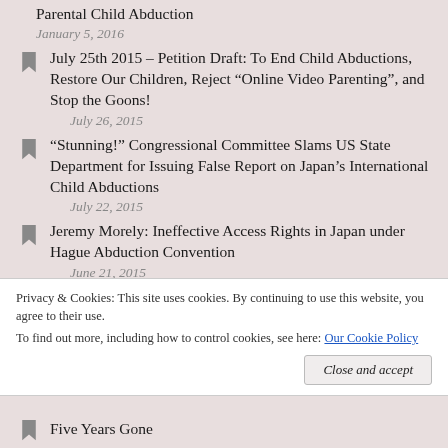Parental Child Abduction
January 5, 2016
July 25th 2015 – Petition Draft: To End Child Abductions, Restore Our Children, Reject “Online Video Parenting”, and Stop the Goons!
July 26, 2015
“Stunning!” Congressional Committee Slams US State Department for Issuing False Report on Japan’s International Child Abductions
July 22, 2015
Jeremy Morely: Ineffective Access Rights in Japan under Hague Abduction Convention
June 21, 2015
Privacy & Cookies: This site uses cookies. By continuing to use this website, you agree to their use.
To find out more, including how to control cookies, see here: Our Cookie Policy
Five Years Gone